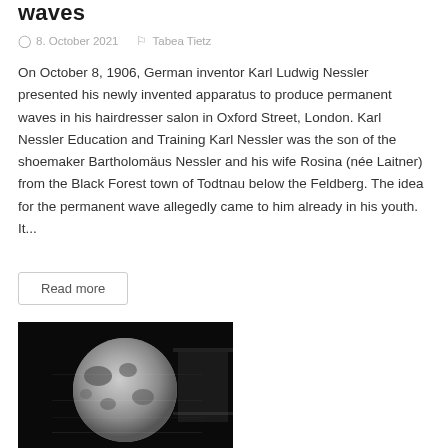waves
8. October 2021   Tabea Tietz
On October 8, 1906, German inventor Karl Ludwig Nessler presented his newly invented apparatus to produce permanent waves in his hairdresser salon in Oxford Street, London. Karl Nessler Education and Training Karl Nessler was the son of the shoemaker Bartholomäus Nessler and his wife Rosina (née Laitner) from the Black Forest town of Todtnau below the Feldberg. The idea for the permanent wave allegedly came to him already in his youth. It...
Read more
[Figure (photo): Grainy black and white photograph of the moon against a black background, with a 'space' category badge overlaid in teal in the upper left corner.]